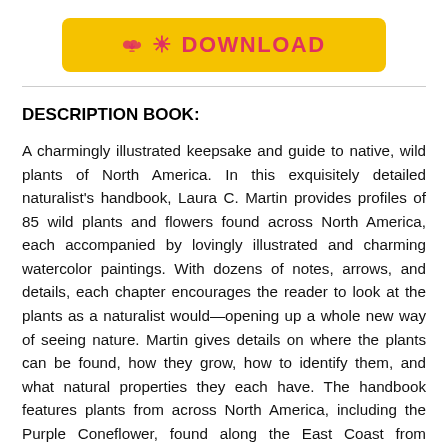[Figure (other): Yellow download button with cloud/download icon and red text reading DOWNLOAD]
DESCRIPTION BOOK:
A charmingly illustrated keepsake and guide to native, wild plants of North America. In this exquisitely detailed naturalist’s handbook, Laura C. Martin provides profiles of 85 wild plants and flowers found across North America, each accompanied by lovingly illustrated and charming watercolor paintings. With dozens of notes, arrows, and details, each chapter encourages the reader to look at the plants as a naturalist would—opening up a whole new way of seeing nature. Martin gives details on where the plants can be found, how they grow, how to identify them, and what natural properties they each have. The handbook features plants from across North America, including the Purple Coneflower, found along the East Coast from Quebec to Florida, and the Opuntia